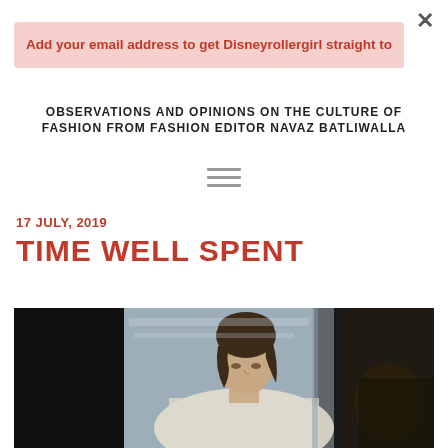×
Add your email address to get Disneyrollergirl straight to
OBSERVATIONS AND OPINIONS ON THE CULTURE OF FASHION FROM FASHION EDITOR NAVAZ BATLIWALLA
≡ (hamburger menu)
17 JULY, 2019
TIME WELL SPENT
[Figure (illustration): A painted illustration of a young woman with brown hair leaning forward, rendered in an impressionistic style with muted blues, greens and browns.]